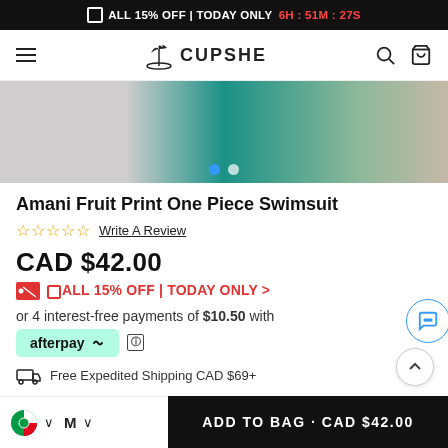ALL 15% OFF | TODAY ONLY 6H : 51M : 27S
[Figure (screenshot): Cupshe navigation bar with hamburger menu, logo with palm tree, search and bag icons]
[Figure (photo): Product photo of Amani Fruit Print One Piece Swimsuit, teal/green color, model wearing it, carousel with two dots]
Amani Fruit Print One Piece Swimsuit
☆☆☆☆☆ Write A Review
CAD $42.00
ALL 15% OFF | TODAY ONLY >
or 4 interest-free payments of $10.50 with
[Figure (logo): Afterpay logo badge in mint green with afterpay link icon]
Free Expedited Shipping CAD $69+
ADD TO BAG · CAD $42.00